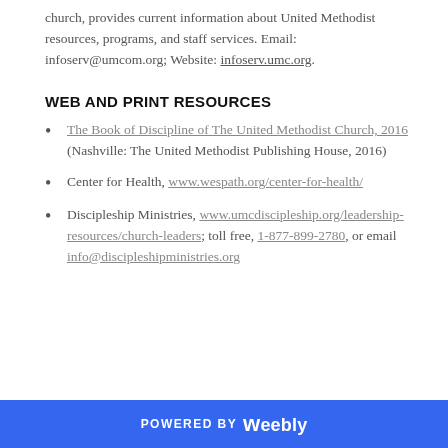church, provides current information about United Methodist resources, programs, and staff services. Email: infoserv@umcom.org; Website: infoserv.umc.org.
WEB AND PRINT RESOURCES
The Book of Discipline of The United Methodist Church, 2016 (Nashville: The United Methodist Publishing House, 2016)
Center for Health, www.wespath.org/center-for-health/
Discipleship Ministries, www.umcdiscipleship.org/leadership-resources/church-leaders; toll free, 1-877-899-2780, or email info@discipleshipministries.org
POWERED BY weebly